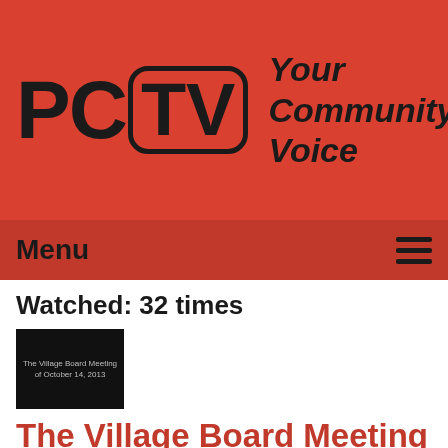[Figure (logo): PCTV logo with TV screen icon and tagline 'Your Community Voice' on red background]
Menu
Watched: 32 times
[Figure (screenshot): Thumbnail image showing 'The Village Board Meeting of October 14, 2013' text on black background]
The Village Board Meeting of 10-14-13
Airdate: 10/14/2013
Guests: Jesse Wolman,